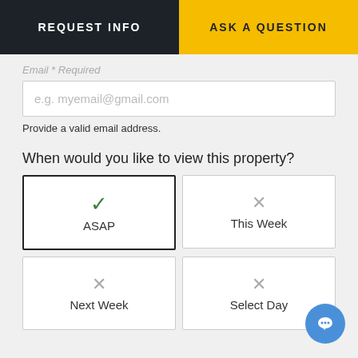REQUEST INFO
ASK A QUESTION
Email * Required
e.g. myemail@gmail.com
Provide a valid email address.
When would you like to view this property?
ASAP (selected)
This Week
Next Week
Select Day